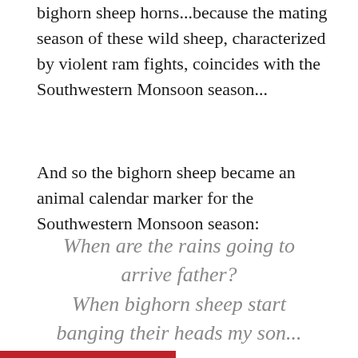bighorn sheep horns...because the mating season of these wild sheep, characterized by violent ram fights, coincides with the Southwestern Monsoon season...
And so the bighorn sheep became an animal calendar marker for the Southwestern Monsoon season:
When are the rains going to arrive father? When bighorn sheep start banging their heads my son...